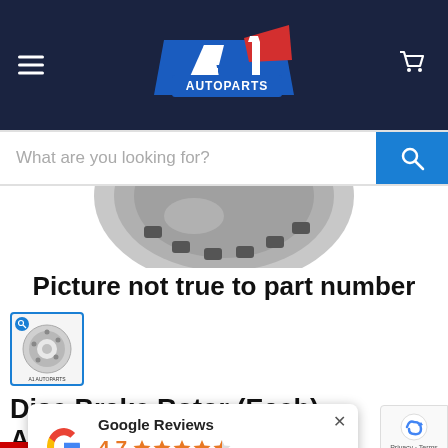A1 Autoparts
What are you looking for?
[Figure (photo): Partial top view of a disc brake rotor, cropped, shown above the disclaimer text]
Picture not true to part number
[Figure (photo): Thumbnail image of a disc brake rotor with A1 Autoparts branding, shown in a blue-bordered square]
Disc Brake Rotor (Each) - ADR803
Google Reviews
4.7 ★★★★½
103 reviews